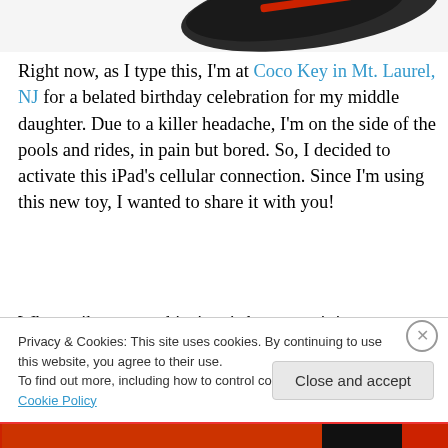[Figure (photo): Partial view of a tablet/iPad device with a case, shown from above at an angle, dark colored]
Right now, as I type this, I'm at Coco Key in Mt. Laurel, NJ for a belated birthday celebration for my middle daughter. Due to a killer headache, I'm on the side of the pools and rides, in pain but bored. So, I decided to activate this iPad's cellular connection. Since I'm using this new toy, I wanted to share it with you!

What strikes me at this time is how easy it is to connect to and communicate with the world, AND how many people,
Privacy & Cookies: This site uses cookies. By continuing to use this website, you agree to their use.
To find out more, including how to control cookies, see here: Cookie Policy
Close and accept